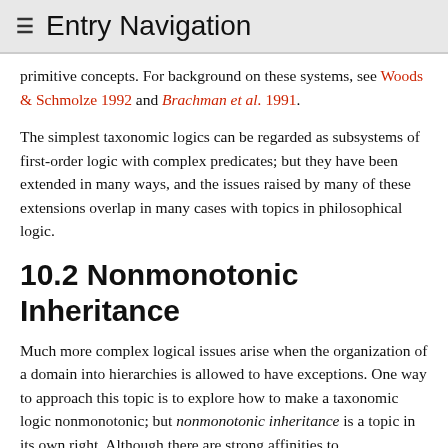≡ Entry Navigation
primitive concepts. For background on these systems, see Woods & Schmolze 1992 and Brachman et al. 1991.
The simplest taxonomic logics can be regarded as subsystems of first-order logic with complex predicates; but they have been extended in many ways, and the issues raised by many of these extensions overlap in many cases with topics in philosophical logic.
10.2 Nonmonotonic Inheritance
Much more complex logical issues arise when the organization of a domain into hierarchies is allowed to have exceptions. One way to approach this topic is to explore how to make a taxonomic logic nonmonotonic; but nonmonotonic inheritance is a topic in its own right. Although there are strong affinities to nonmonotonic logic, nonmonotonic logic relies more heavily on graph-based representations than on traditional logical ideas, and seems to provide a much finer-grained approach to nonmonotonic reasoning that raises entirely new issues.